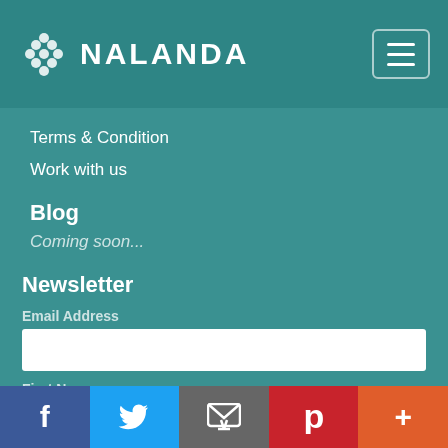NALANDA
Terms & Condition
Work with us
Blog
Coming soon...
Newsletter
Email Address
First Name
Social bar: Facebook, Twitter, Email, Pinterest, More